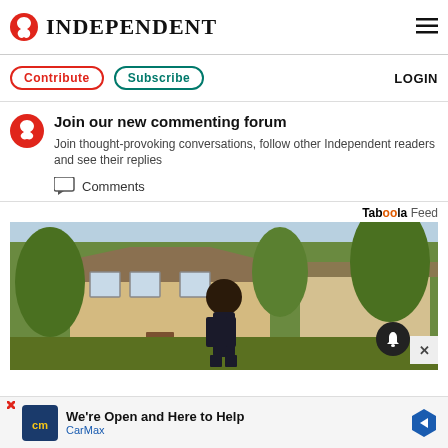INDEPENDENT
Contribute  Subscribe  LOGIN
Join our new commenting forum
Join thought-provoking conversations, follow other Independent readers and see their replies
Comments
Taboola Feed
[Figure (photo): Woman standing in front of a large house with trees and green landscaping]
We're Open and Here to Help  CarMax